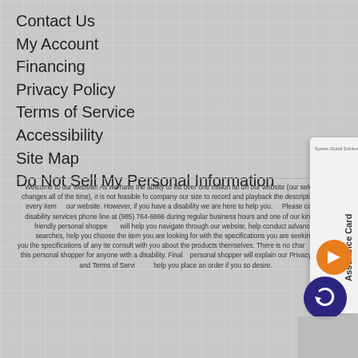Contact Us
My Account
Financing
Privacy Policy
Terms of Service
Accessibility
Site Map
Do Not Sell My Personal Information
Welcome to our website! As we have the ability to list over one million ite on our website (our selection changes all of the time), it is not feasible fo company our size to record and playback the descriptions on every item our website. However, if you have a disability we are here to help you. Please call our disability services phone line at (985) 764-6866 during regular business hours and one of our kind and friendly personal shoppe will help you navigate through our website, help conduct advanced searches, help you choose the item you are looking for with the specifications you are seeking, read you the specifications of any ite consult with you about the products themselves. There is no char help of this personal shopper for anyone with a disability. Final personal shopper will explain our Privacy Policy and Terms of Servi help you place an order if you so desire.